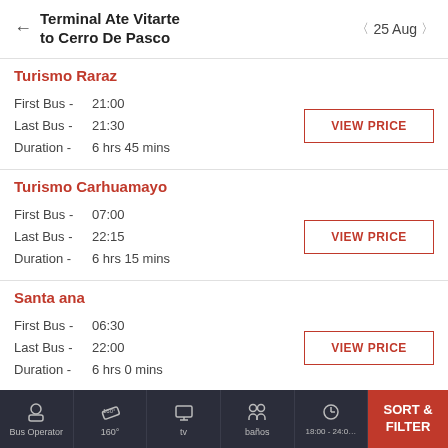Terminal Ate Vitarte to Cerro De Pasco — 25 Aug
Turismo Raraz
First Bus - 21:00
Last Bus - 21:30
Duration - 6 hrs 45 mins
Turismo Carhuamayo
First Bus - 07:00
Last Bus - 22:15
Duration - 6 hrs 15 mins
Santa ana
First Bus - 06:30
Last Bus - 22:00
Duration - 6 hrs 0 mins
Bus Operator | 160° | tv | baños | 18:00 - 24:00 | SORT & FILTER